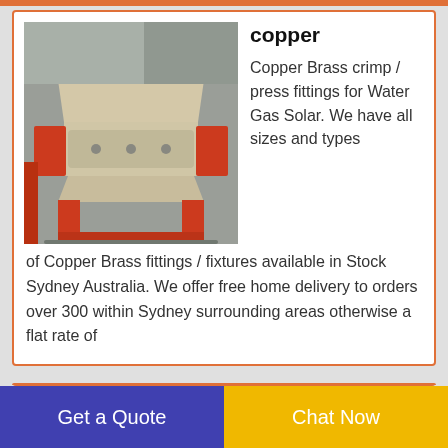[Figure (photo): Industrial machine (crusher/press) with beige hopper on top and red base/supports, photographed outdoors in an industrial yard]
copper
Copper Brass crimp / press fittings for Water Gas Solar. We have all sizes and types of Copper Brass fittings / fixtures available in Stock Sydney Australia. We offer free home delivery to orders over 300 within Sydney surrounding areas otherwise a flat rate of
[Figure (photo): Partial view of industrial equipment in a warehouse/factory setting with orange coloring visible]
AORUS GeForce GTX